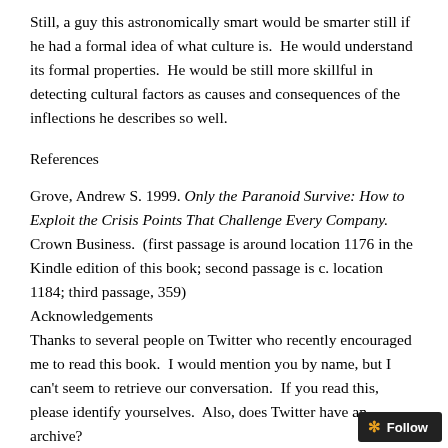Still, a guy this astronomically smart would be smarter still if he had a formal idea of what culture is.  He would understand its formal properties.  He would be still more skillful in detecting cultural factors as causes and consequences of the inflections he describes so well.
References
Grove, Andrew S. 1999. Only the Paranoid Survive: How to Exploit the Crisis Points That Challenge Every Company. Crown Business.  (first passage is around location 1176 in the Kindle edition of this book; second passage is c. location 1184; third passage, 359)
Acknowledgements
Thanks to several people on Twitter who recently encouraged me to read this book.  I would mention you by name, but I can't seem to retrieve our conversation.  If you read this, please identify yourselves.  Also, does Twitter have an archive?